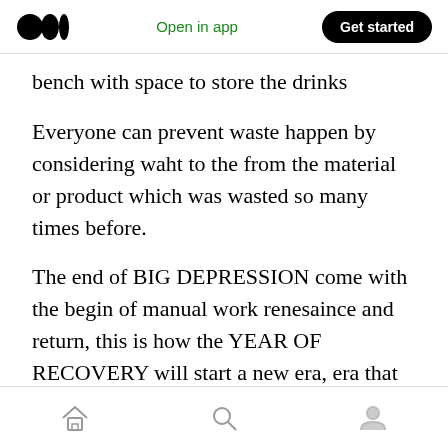Medium logo | Open in app | Get started
bench with space to store the drinks
Everyone can prevent waste happen by considering waht to the from the material or product which was wasted so many times before.
The end of BIG DEPRESSION come with the begin of manual work renesaince and return, this is how the YEAR OF RECOVERY will start a new era, era that was predicted back in 2015 in one small article named INDUSTRY 5.0 FROM VIRTUAL TO PHYSICAL
Home | Search | Profile